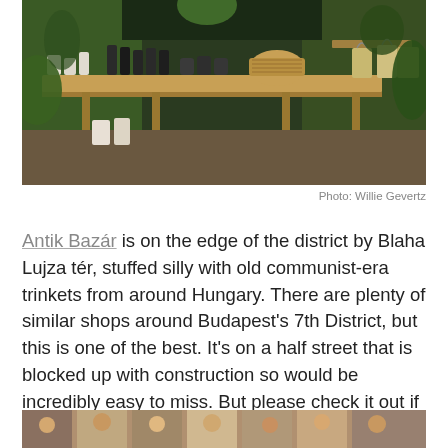[Figure (photo): Interior of a boutique shop with wooden shelving displaying skincare products, bottles, candles, and jars, surrounded by lush green plants.]
Photo: Willie Gevertz
Antik Bazár is on the edge of the district by Blaha Lujza tér, stuffed silly with old communist-era trinkets from around Hungary. There are plenty of similar shops around Budapest's 7th District, but this is one of the best. It's on a half street that is blocked up with construction so would be incredibly easy to miss. But please check it out if you want to pick up something one-of-a-kind before heading home.
[Figure (photo): Bottom strip showing a partial image, appears to be people or a market scene.]